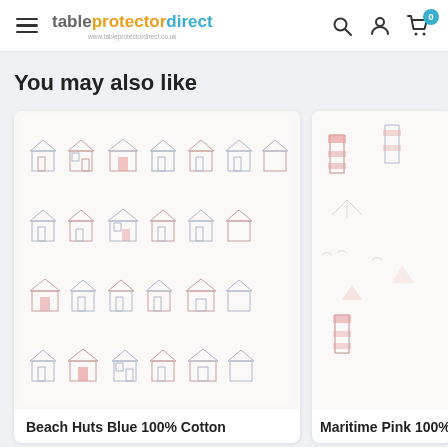tableprotectordirect — navigation header with hamburger menu, logo, search, account, and cart icons
You may also like
[Figure (photo): Product image showing Beach Huts Blue 100% Cotton fabric pattern with repeating rows of colorful illustrated beach huts on a white background]
Beach Huts Blue 100% Cotton
[Figure (photo): Product image showing Maritime Pink 100% Cotton fabric pattern with lighthouse and nautical motifs on a white background, partially visible]
Maritime Pink 100%